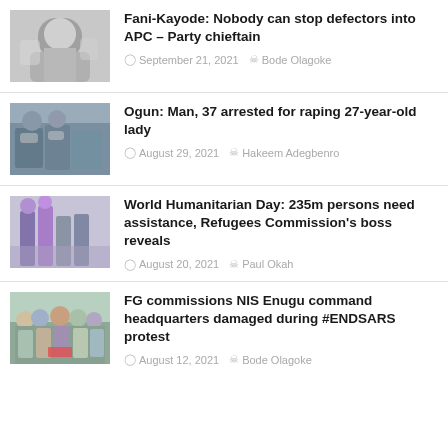[Figure (photo): Photo of Fani-Kayode, a man in white traditional attire]
Fani-Kayode: Nobody can stop defectors into APC – Party chieftain
September 21, 2021  Bode Olagoke
[Figure (photo): Crowd photo with people wearing face masks]
Ogun: Man, 37 arrested for raping 27-year-old lady
August 29, 2021  Hakeem Adegbenro
[Figure (photo): People in colorful traditional attire walking in a corridor]
World Humanitarian Day: 235m persons need assistance, Refugees Commission's boss reveals
August 20, 2021  Paul Okah
[Figure (photo): Group of officials in face masks at a building commissioning]
FG commissions NIS Enugu command headquarters damaged during #ENDSARS protest
August 12, 2021  Bode Olagoke